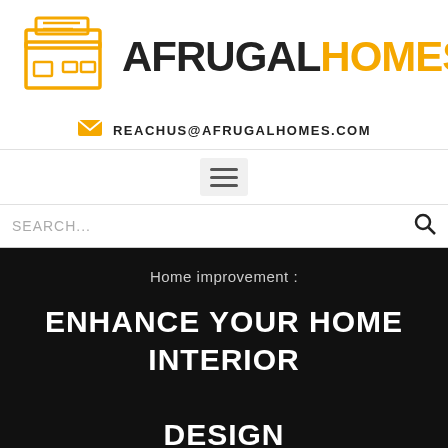[Figure (logo): AfrugalHomes logo with house icon in orange/yellow outline style and text AFRUGALHOMES where AFRUGAL is black and HOMES is orange/yellow]
REACHUS@AFRUGALHOMES.COM
[Figure (other): Hamburger menu button with three horizontal lines]
SEARCH...
Home improvement :
ENHANCE YOUR HOME INTERIOR DESIGN
[Figure (photo): Three small thumbnail images at the bottom of the dark hero section]